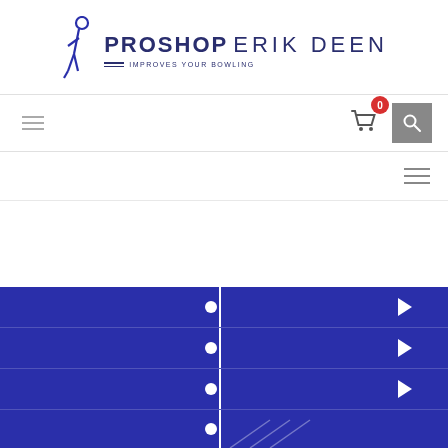[Figure (logo): Proshop Erik Deen logo with bowling figure, tagline 'IMPROVES YOUR BOWLING']
[Figure (screenshot): Navigation bar with hamburger menu icon on left and cart (0 items) and search button on right]
[Figure (screenshot): Sidebar toggle hamburger icon on the right side]
[Figure (screenshot): Bottom dark blue menu section with dots and right-arrow indicators, vertical divider line, and multiple menu rows]